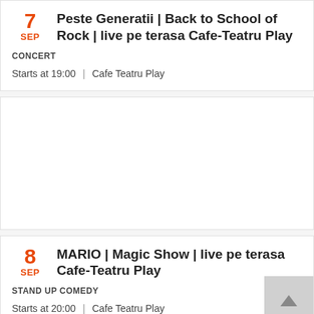7 SEP — Peste Generatii | Back to School of Rock | live pe terasa Cafe-Teatru Play
CONCERT
Starts at 19:00 | Cafe Teatru Play
[Figure (other): Advertisement placeholder card (blank white area)]
8 SEP — MARIO | Magic Show | live pe terasa Cafe-Teatru Play
STAND UP COMEDY
Starts at 20:00 | Cafe Teatru Play